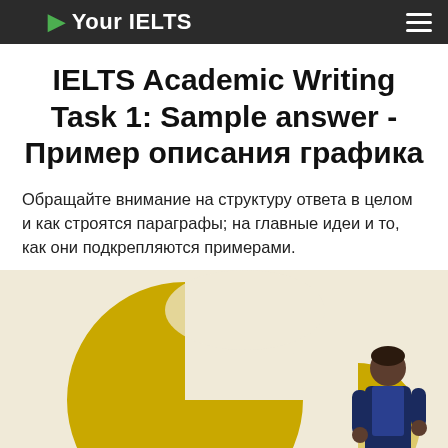Your IELTS
IELTS Academic Writing Task 1: Sample answer - Пример описания графика
Обращайте внимание на структуру ответа в целом и как строятся параграфы; на главные идеи и то, как они подкрепляются примерами.
[Figure (illustration): Illustration of a person with a pie chart, showing a donut/pie chart graphic on a light beige background with a stylized person figure partially visible on the right side]